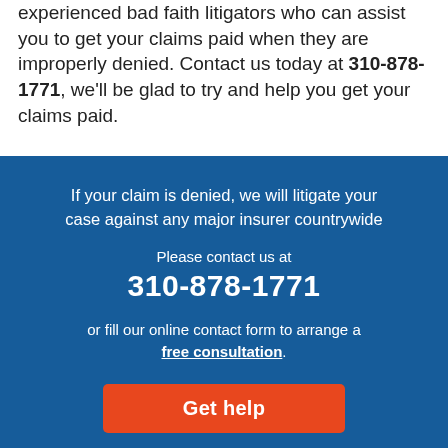experienced bad faith litigators who can assist you to get your claims paid when they are improperly denied. Contact us today at 310-878-1771, we'll be glad to try and help you get your claims paid.
[Figure (infographic): Blue banner with background image of people, containing text: 'If your claim is denied, we will litigate your case against any major insurer countrywide', contact info '310-878-1771', 'or fill our online contact form to arrange a free consultation.', and an orange 'Get help' button.]